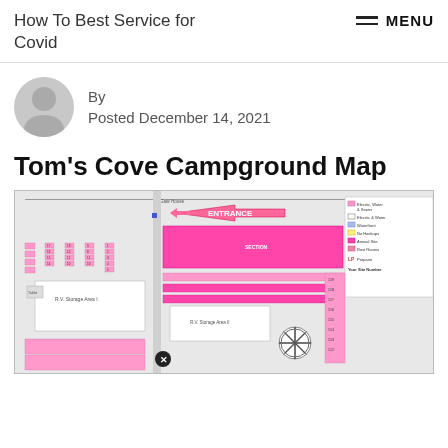How To Best Service for Covid
By
Posted December 14, 2021
Tom's Cove Campground Map
[Figure (map): Tom's Cove Campground site map showing campsite layouts with color-coded legend including Electric/Water & Sewer, Electric & Water, Waterfront, No Hookups, Annual Site, Rest Rooms, Propane indicators, and a compass rose. Shows entrance arrow and multiple numbered campsites arranged in sections including R.V. Storage Areas.]